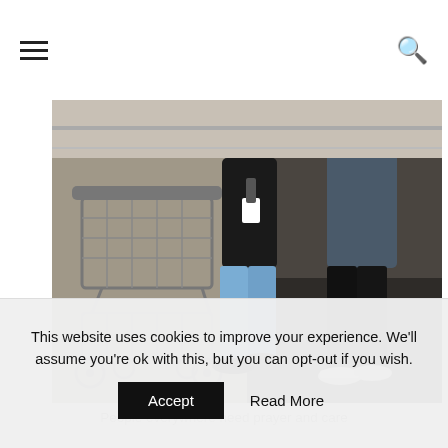≡ (menu icon) | 🔍 (search icon)
[Figure (photo): Two people pushing a shopping cart in what appears to be a store or warehouse. One person wears a black top and light blue jeans with dark sneakers, the other wears a gray hoodie and dark pants with white sneakers. A metal shopping cart is visible in the foreground.]
People everywhere need prayer and care
Living in Our Mission Field
It is important for all of us who are followers of Jesus to realize that each of our lives in a mission field, made up of our families, neighbors, co-workers, and friends. Furthermore,
This website uses cookies to improve your experience. We'll assume you're ok with this, but you can opt-out if you wish. Accept  Read More